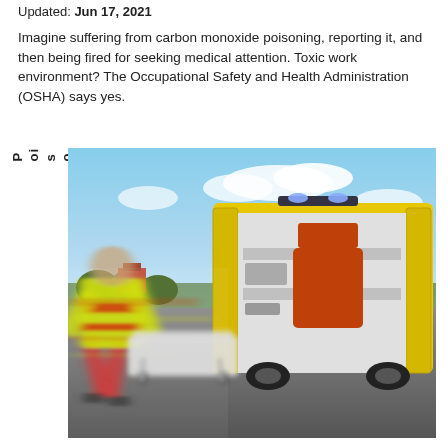Updated: Jun 17, 2021
Imagine suffering from carbon monoxide poisoning, reporting it, and then being fired for seeking medical attention. Toxic work environment? The Occupational Safety and Health Administration (OSHA) says yes.
Poisoned, Then Fired
[Figure (photo): Blurred motion photo of an emergency medical technician in yellow-green high-visibility vest pushing a stretcher toward the open rear doors of a yellow ambulance on a tarmac, dramatic motion blur conveying urgency.]